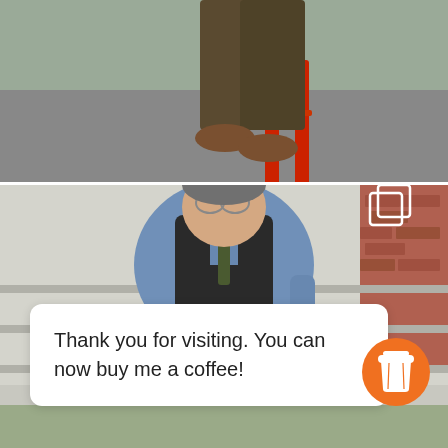[Figure (photo): Top portion of a photo showing a person's legs and feet on a red ladder, cropped at the torso, outdoors on pavement.]
[Figure (photo): Man with glasses wearing a blue shirt, dark vest, and green tie, sitting on white steps with brick wall in background. A duplicate/copy icon is visible in the upper right corner of the photo.]
Thank you for visiting. You can now buy me a coffee!
[Figure (illustration): Orange circular button with a white coffee cup icon (takeaway cup with lid).]